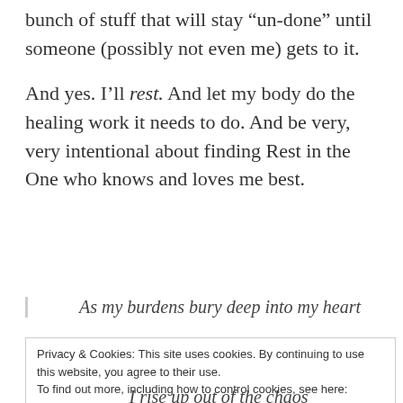bunch of stuff that will stay “un-done” until someone (possibly not even me) gets to it.
And yes. I’ll rest. And let my body do the healing work it needs to do. And be very, very intentional about finding Rest in the One who knows and loves me best.
As my burdens bury deep into my heart
Privacy & Cookies: This site uses cookies. By continuing to use this website, you agree to their use.
To find out more, including how to control cookies, see here: Cookie Policy
Close and accept
I rise up out of the chaos